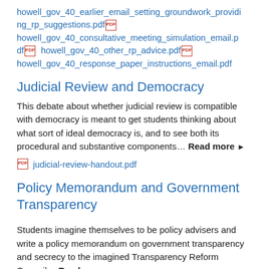howell_gov_40_earlier_email_setting_groundwork_providing_rp_suggestions.pdf [PDF icon] howell_gov_40_consultative_meeting_simulation_email.pdf [PDF icon]  howell_gov_40_other_rp_advice.pdf [PDF icon] howell_gov_40_response_paper_instructions_email.pdf
Judicial Review and Democracy
This debate about whether judicial review is compatible with democracy is meant to get students thinking about what sort of ideal democracy is, and to see both its procedural and substantive components.... Read more ▶
judicial-review-handout.pdf
Policy Memorandum and Government Transparency
Students imagine themselves to be policy advisers and write a policy memorandum on government transparency and secrecy to the imagined Transparency Reform Council... Read more ▶